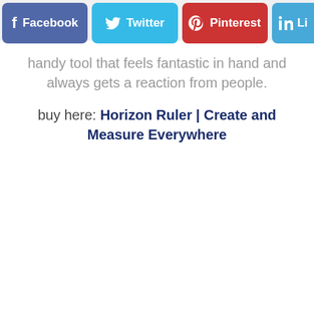[Figure (screenshot): Social media share buttons bar: Facebook (blue-purple), Twitter (light blue), Pinterest (red), LinkedIn (blue, partially visible). Each button has the platform icon and name in white text on a rounded rectangle background.]
handy tool that feels fantastic in hand and always gets a reaction from people.
buy here: Horizon Ruler | Create and Measure Everywhere